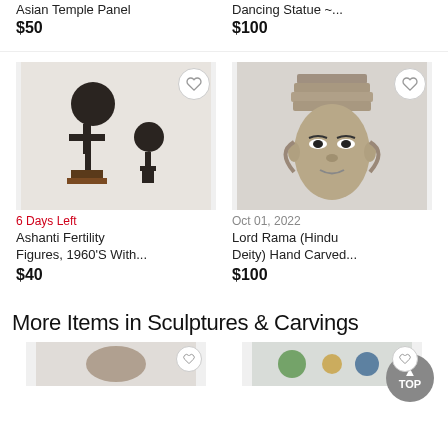Asian Temple Panel
$50
Dancing Statue ~...
$100
[Figure (photo): Two dark metal Ashanti fertility figures on wooden bases against white background]
[Figure (photo): Stone carved head of Lord Rama Hindu deity with ornate headdress against white background]
6 Days Left
Oct 01, 2022
Ashanti Fertility Figures, 1960'S With...
$40
Lord Rama (Hindu Deity) Hand Carved...
$100
More Items in Sculptures & Carvings
[Figure (photo): Partial view of sculpture at bottom left]
[Figure (photo): Partial view of sculpture at bottom right]